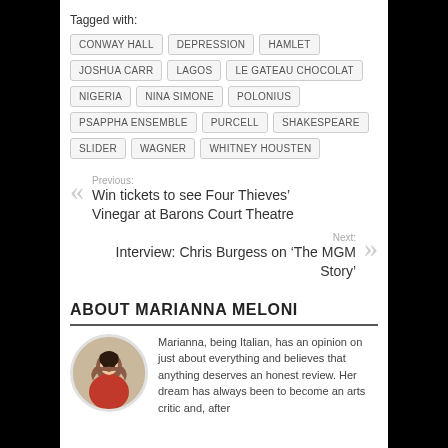Tagged with: CONWAY HALL | DEPRESSION | HAMLET | JOSHUA CARR | LAGOS | LE GATEAU CHOCOLAT | NIGERIA | NINA SIMONE | POLONIUS | PSAPPHA ENSEMBLE | PURCELL | SHAKESPEARE | SLIDER | WAGNER | WHITNEY HOUSTEN
Previous: Win tickets to see Four Thieves' Vinegar at Barons Court Theatre
Next: Interview: Chris Burgess on 'The MGM Story'
ABOUT MARIANNA MELONI
Marianna, being Italian, has an opinion on just about everything and believes that anything deserves an honest review. Her dream has always been to become an arts critic and, after